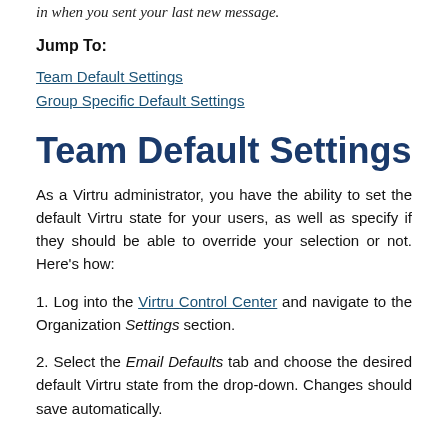in when you sent your last new message.
Jump To:
Team Default Settings
Group Specific Default Settings
Team Default Settings
As a Virtru administrator, you have the ability to set the default Virtru state for your users, as well as specify if they should be able to override your selection or not. Here's how:
1. Log into the Virtru Control Center and navigate to the Organization Settings section.
2. Select the Email Defaults tab and choose the desired default Virtru state from the drop-down. Changes should save automatically.